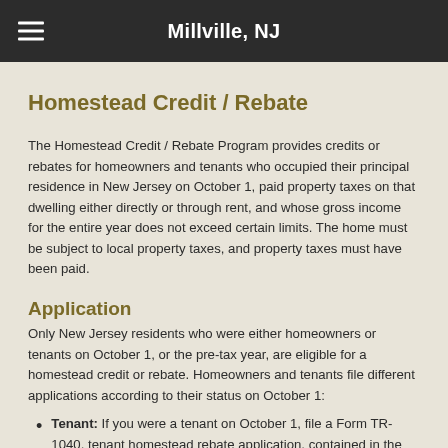Millville, NJ
Homestead Credit / Rebate
The Homestead Credit / Rebate Program provides credits or rebates for homeowners and tenants who occupied their principal residence in New Jersey on October 1, paid property taxes on that dwelling either directly or through rent, and whose gross income for the entire year does not exceed certain limits. The home must be subject to local property taxes, and property taxes must have been paid.
Application
Only New Jersey residents who were either homeowners or tenants on October 1, or the pre-tax year, are eligible for a homestead credit or rebate. Homeowners and tenants file different applications according to their status on October 1:
Tenant: If you were a tenant on October 1, file a Form TR-1040, tenant homestead rebate application, contained in the resident income tax return booklet.
Homeowner: If you were a hom...